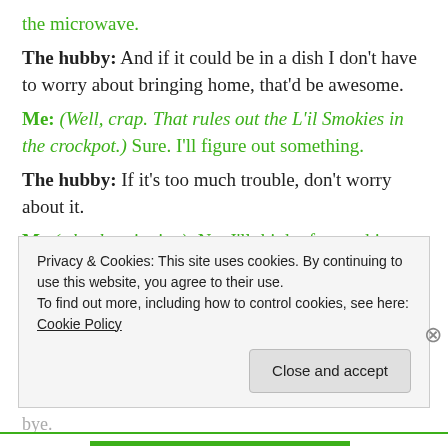the microwave.
The hubby: And if it could be in a dish I don't have to worry about bringing home, that'd be awesome.
Me: (Well, crap. That rules out the L'il Smokies in the crockpot.) Sure. I'll figure out something.
The hubby: If it's too much trouble, don't worry about it.
Me (wheels spinning): No, I'll think of something, it's fine.
The hubby: And do we have something we could wrap up for a white elephant gift exchange?
Me: Uhhh. (No.) Yeah. I'll take care of it.
The hubby: Thanks. I'll talk to you later. Love you, bye.
Privacy & Cookies: This site uses cookies. By continuing to use this website, you agree to their use. To find out more, including how to control cookies, see here: Cookie Policy
Close and accept